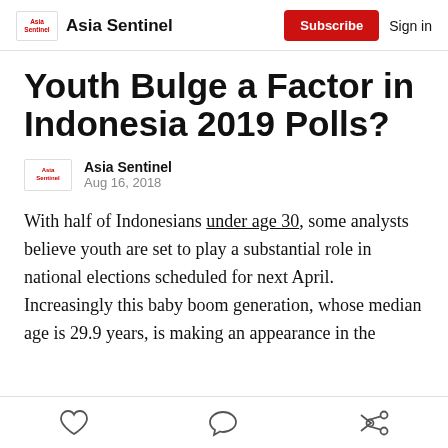Asia Sentinel | Subscribe | Sign in
Youth Bulge a Factor in Indonesia 2019 Polls?
Asia Sentinel
Aug 16, 2018
With half of Indonesians under age 30, some analysts believe youth are set to play a substantial role in national elections scheduled for next April. Increasingly this baby boom generation, whose median age is 29.9 years, is making an appearance in the